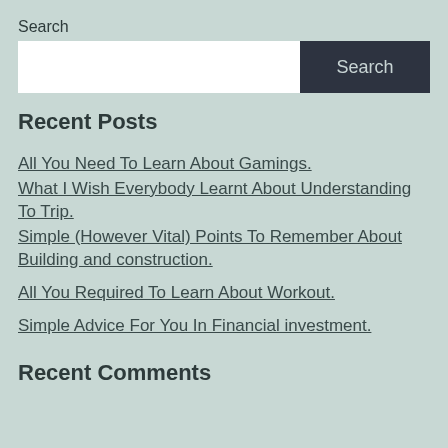Search
Search [input field with Search button]
Recent Posts
All You Need To Learn About Gamings.
What I Wish Everybody Learnt About Understanding To Trip.
Simple (However Vital) Points To Remember About Building and construction.
All You Required To Learn About Workout.
Simple Advice For You In Financial investment.
Recent Comments